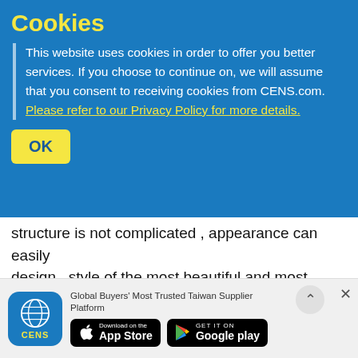CENS - Product List | Company Profiles
Cookies
This website uses cookies in order to offer you better services. If you choose to continue on, we will assume that you consent to receiving cookies from CENS.com. Please refer to our Privacy Policy for more details.
OK
structure is not complicated , appearance can easily design , style of the most beautiful and most durable , most environmentally friendly and most cost-effective , truly meet modern needs.
(2) This product uses nano -tech with high heat paint coating , as well as special structural design, the dust will not affect the heat ; easily attached to the surface of the dust , easy to clean , as long as there is wind or rain will automatically cleansed .
brilliant LED lights are refracted reflection of
This product has a reflection refraction optical technology
Global Buyers' Most Trusted Taiwan Supplier Platform